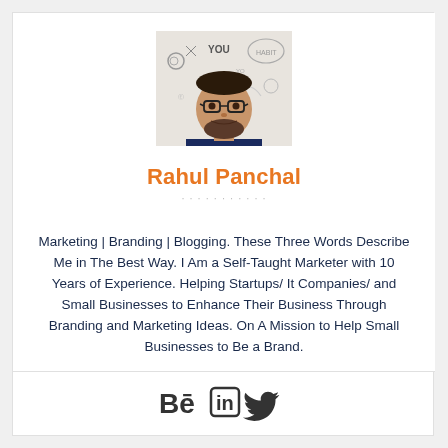[Figure (photo): Profile photo of Rahul Panchal, a man with glasses and beard, arms crossed, wearing a navy polo shirt, against a graffiti-style background with 'YOU' and other marketing-related words]
Rahul Panchal
Marketing | Branding | Blogging. These Three Words Describe Me in The Best Way. I Am a Self-Taught Marketer with 10 Years of Experience. Helping Startups/ It Companies/ and Small Businesses to Enhance Their Business Through Branding and Marketing Ideas. On A Mission to Help Small Businesses to Be a Brand.
[Figure (illustration): Social media icons: Behance (Bē), LinkedIn (in), Twitter bird icon]